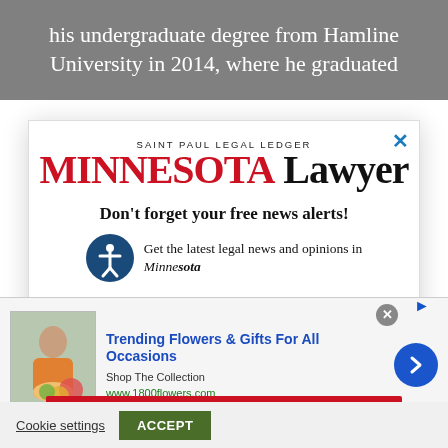his undergraduate degree from Hamline University in 2014, where he graduated
[Figure (screenshot): Minnesota Lawyer popup modal with newsletter signup. Shows 'SAINT PAUL LEGAL LEDGER' above 'MINNESOTA Lawyer' logo in red/black, headline 'Don't forget your free news alerts!', accessibility icon, text 'Get the latest legal news and opinions in Minnesota', and a red 'SIGN UP FOR FREE' button. An advertisement for 1800flowers.com overlaps the lower portion showing a woman with flowers, 'Trending Flowers & Gifts For All Occasions', 'Shop The Collection', 'www.1800flowers.com', and a blue circular arrow button.]
Cookie settings
ACCEPT